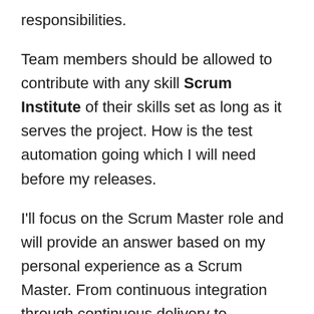responsibilities.
Team members should be allowed to contribute with any skill Scrum Institute of their skills set as long as it serves the project. How is the test automation going which I will need before my releases.
I'll focus on the Scrum Master role and will provide an answer based on my personal experience as a Scrum Master. From continuous integration through continuous delivery to continuous deployment.
You can share your experience on Scrum projects in the comments below. The Development Team needs